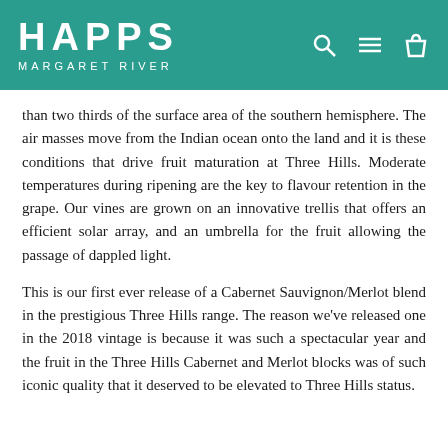HAPPS MARGARET RIVER
than two thirds of the surface area of the southern hemisphere. The air masses move from the Indian ocean onto the land and it is these conditions that drive fruit maturation at Three Hills. Moderate temperatures during ripening are the key to flavour retention in the grape. Our vines are grown on an innovative trellis that offers an efficient solar array, and an umbrella for the fruit allowing the passage of dappled light.
This is our first ever release of a Cabernet Sauvignon/Merlot blend in the prestigious Three Hills range. The reason we've released one in the 2018 vintage is because it was such a spectacular year and the fruit in the Three Hills Cabernet and Merlot blocks was of such iconic quality that it deserved to be elevated to Three Hills status.